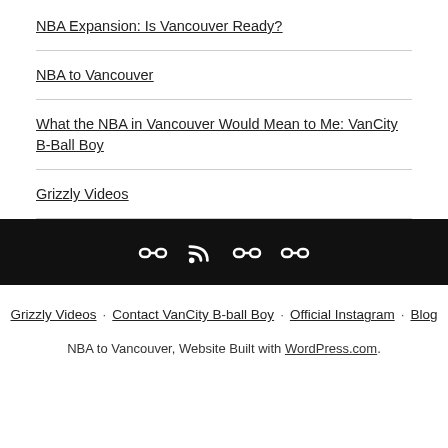NBA Expansion: Is Vancouver Ready?
NBA to Vancouver
What the NBA in Vancouver Would Mean to Me: VanCity B-Ball Boy
Grizzly Videos
[Figure (other): Dark footer bar with four icon links: two chain/link icons, one RSS feed icon, one chain/link icon]
Grizzly Videos · Contact VanCity B-ball Boy · Official Instagram · Blog
NBA to Vancouver, Website Built with WordPress.com.